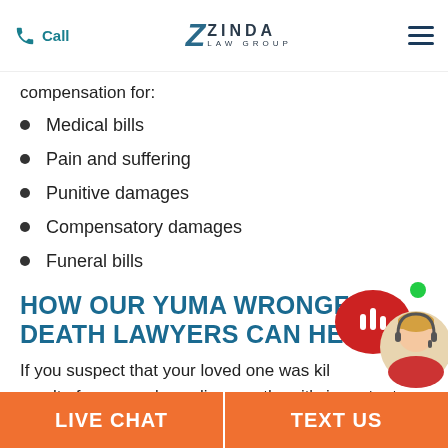Call | ZINDA LAW GROUP
compensation for:
Medical bills
Pain and suffering
Punitive damages
Compensatory damages
Funeral bills
HOW OUR YUMA WRONGFUL DEATH LAWYERS CAN HELP
If you suspect that your loved one was killed as a result of someone's negligence, then it's important
LIVE CHAT | TEXT US